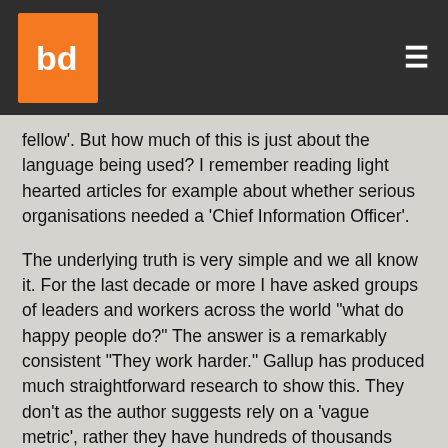bd logo and navigation menu
fellow'. But how much of this is just about the language being used? I remember reading light hearted articles for example about whether serious organisations needed a 'Chief Information Officer'.
The underlying truth is very simple and we all know it. For the last decade or more I have asked groups of leaders and workers across the world "what do happy people do?" The answer is a remarkably consistent "They work harder." Gallup has produced much straightforward research to show this. They don't as the author suggests rely on a 'vague metric', rather they have hundreds of thousands (millions?) of answers to their Q12 questions - consistently asked and answered among clients who use Gallup's surveys. The way employees answer those questions places them in one of three buckets: engaged, not